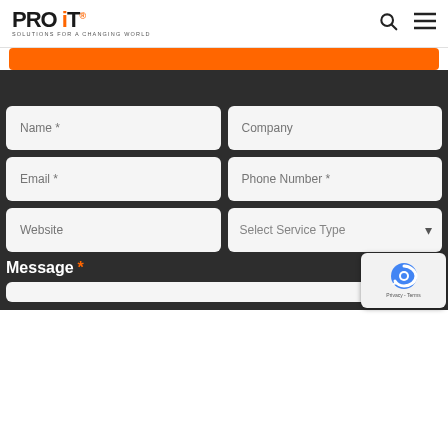PRO IT - Solutions For A Changing World
[Figure (screenshot): Orange banner/button bar at top of content area]
Name * | Company | Email * | Phone Number * | Website | Select Service Type
Message *